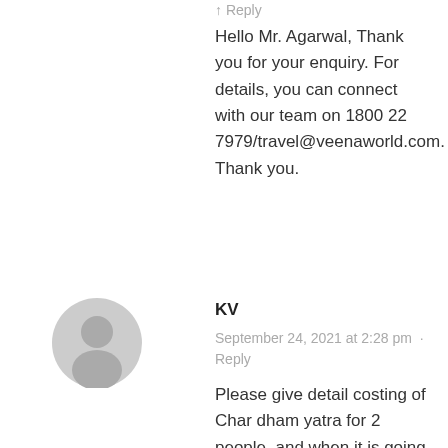↑ Reply
Hello Mr. Agarwal, Thank you for your enquiry. For details, you can connect with our team on 1800 22 7979/travel@veenaworld.com. Thank you.
[Figure (illustration): Gray circular user avatar icon for user KV]
KV
September 24, 2021 at 2:28 pm · Reply
Please give detail costing of Char dham yatra for 2 people, and when it is going to start. We would